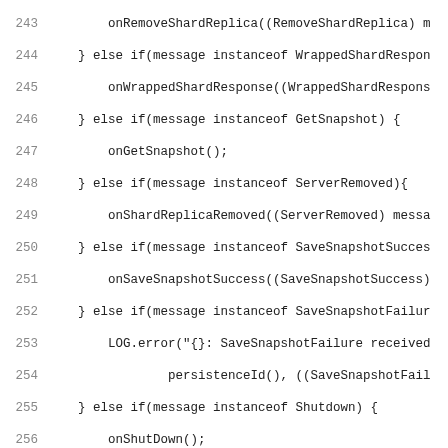[Figure (screenshot): Source code listing in Java showing lines 243-274, depicting a method that handles various message types with if-else instanceof checks, and a private void onShutDown() method dealing with stopping futures for shard actors.]